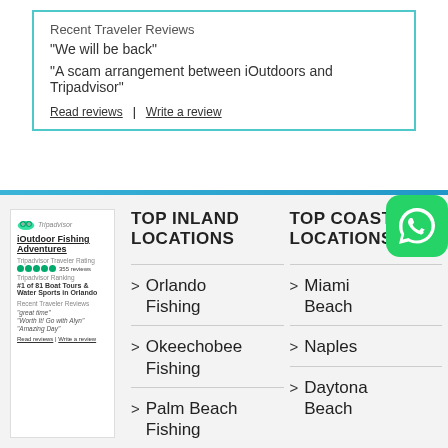Recent Traveler Reviews
"We will be back"
"A scam arrangement between iOutdoors and Tripadvisor"
Read reviews | Write a review
[Figure (screenshot): TripAdvisor widget showing iOutdoor Fishing Adventures, Tripadvisor Traveler Rating with green circles, 355 reviews, Tripadvisor Ranking #1 of 81 Boat Tours & Water Sports in Orlando, Recent Traveler Reviews: 'great time', 'Worth It! Go with Alyn', 'Amazing Day', Read reviews | Write a review]
TOP INLAND LOCATIONS
TOP COASTAL LOCATIONS
Orlando Fishing
Miami Beach
Okeechobee Fishing
Naples
Palm Beach Fishing
Daytona Beach